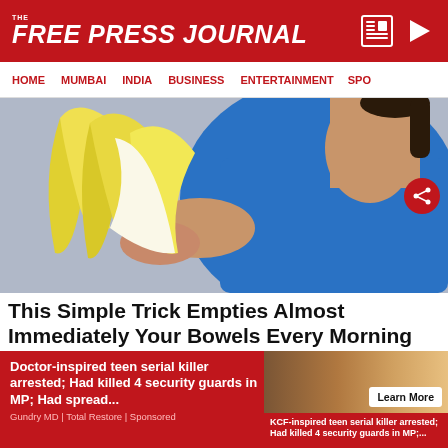THE FREE PRESS JOURNAL
HOME  MUMBAI  INDIA  BUSINESS  ENTERTAINMENT  SPO
[Figure (photo): A person in a blue sleeveless top peeling a banana, close-up shot]
This Simple Trick Empties Almost Immediately Your Bowels Every Morning
Doctor-inspired teen serial killer arrested; Had killed 4 security guards in MP; Had spread...
Do You Have Too Much Belly Fat? (Eat This Before Bed)
Gundry MD | Total Restore | Sponsored
KCF-inspired teen serial killer arrested; Had killed 4 security guards in MP;...